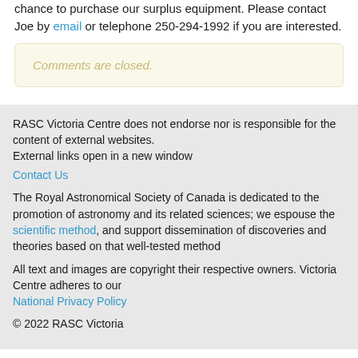Victoria Centre and then all RASC members will be given first chance to purchase our surplus equipment. Please contact Joe by email or telephone 250-294-1992 if you are interested.
Comments are closed.
RASC Victoria Centre does not endorse nor is responsible for the content of external websites.
External links open in a new window
Contact Us
The Royal Astronomical Society of Canada is dedicated to the promotion of astronomy and its related sciences; we espouse the scientific method, and support dissemination of discoveries and theories based on that well-tested method
All text and images are copyright their respective owners. Victoria Centre adheres to our National Privacy Policy
© 2022 RASC Victoria